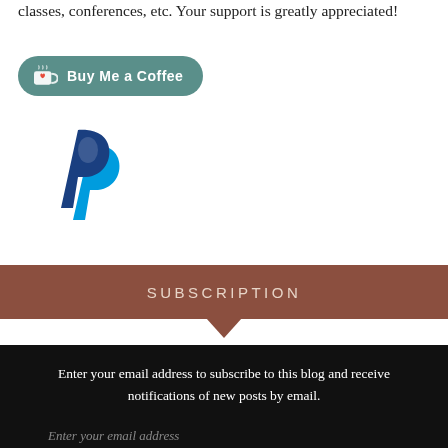classes, conferences, etc. Your support is greatly appreciated!
[Figure (logo): Buy Me a Coffee button – teal rounded rectangle with cup icon and white text 'Buy Me a Coffee']
[Figure (logo): PayPal logo – dark blue and light blue stylized double-P lettermark]
SUBSCRIPTION
Enter your email address to subscribe to this blog and receive notifications of new posts by email.
Enter your email address